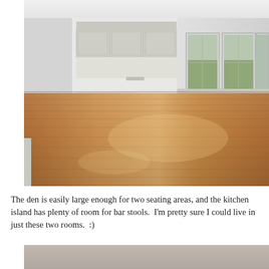[Figure (photo): Interior photo of an open-plan home showing a large den/living area with polished hardwood floors, a kitchen with white cabinets and a center island in the background, and French doors leading to a backyard on the right.]
The den is easily large enough for two seating areas, and the kitchen island has plenty of room for bar stools.  I'm pretty sure I could live in just these two rooms.  :)
[Figure (photo): Partial view of a room interior, clipped at the bottom of the page. Shows a light gray/beige wall.]